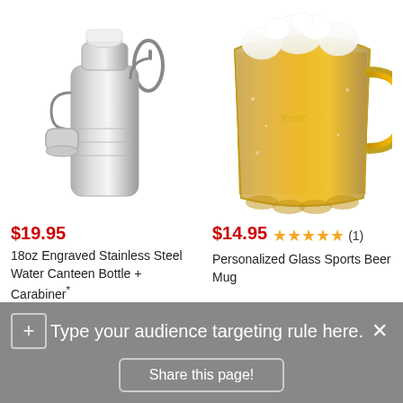[Figure (photo): Stainless steel 18oz engraved water canteen bottle with carabiner and cap]
[Figure (photo): Personalized glass sports beer mug filled with beer and foam]
$19.95
18oz Engraved Stainless Steel Water Canteen Bottle + Carabiner*
$14.95 ★★★★★ (1)
Personalized Glass Sports Beer Mug
Type your audience targeting rule here.
Share this page!